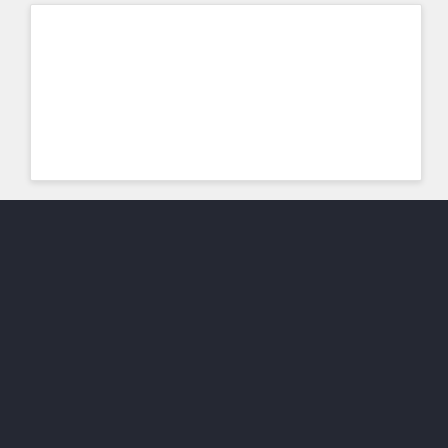[Figure (other): White card/panel on light grey background at top of page]
Stichting Zakaat Nederland
[Figure (logo): Zakaat logo - green star/badge shape with Arabic calligraphy and ZAKAAT text on dark background]
[Figure (other): reCAPTCHA badge widget showing the reCAPTCHA circular arrow logo with Privacy and Terms links]